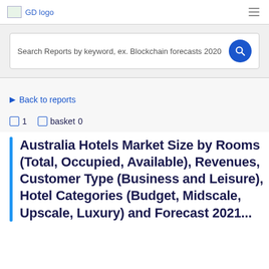GD logo
Search Reports by keyword, ex. Blockchain forecasts 2020
Back to reports
1   basket 0
Australia Hotels Market Size by Rooms (Total, Occupied, Available), Revenues, Customer Type (Business and Leisure), Hotel Categories (Budget, Midscale, Upscale, Luxury) and Forecast 2021...